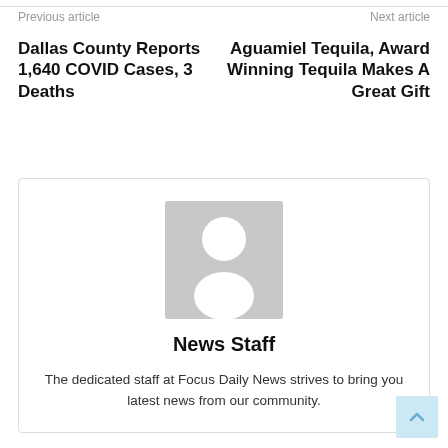Previous article
Next article
Dallas County Reports 1,640 COVID Cases, 3 Deaths
Aguamiel Tequila, Award Winning Tequila Makes A Great Gift
[Figure (illustration): Generic user avatar placeholder — grey square with white silhouette of a person]
News Staff
The dedicated staff at Focus Daily News strives to bring you latest news from our community.